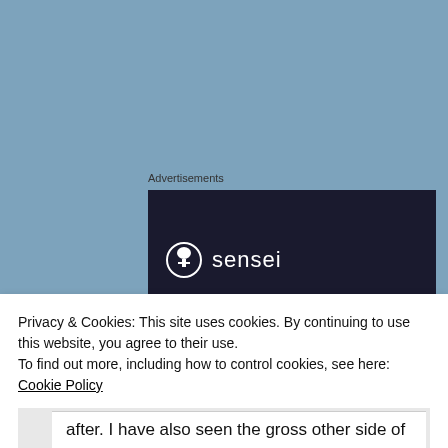Advertisements
[Figure (logo): Sensei logo on dark navy background — circle icon with tree/person silhouette and the word 'sensei' in white text]
Prefer not Twosay
April 15, 2014 at 7:04 pm
Privacy & Cookies: This site uses cookies. By continuing to use this website, you agree to their use.
To find out more, including how to control cookies, see here: Cookie Policy
Close and accept
after. I have also seen the gross other side of